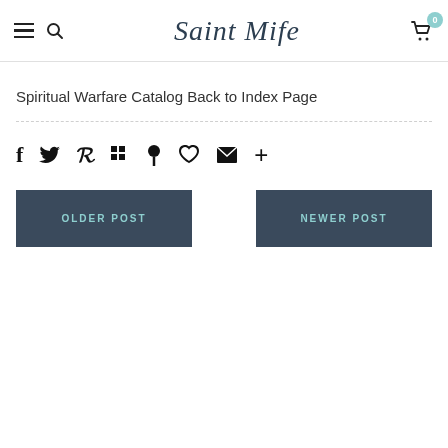Saint Mife — navigation header with hamburger menu, search, logo, and cart (0 items)
Spiritual Warfare Catalog Back to Index Page
[Figure (infographic): Social sharing icons row: Facebook (f), Twitter (bird), Pinterest (P), Grid/apps, Bookmark/pin, Heart, Email/envelope, Plus (+)]
OLDER POST
NEWER POST